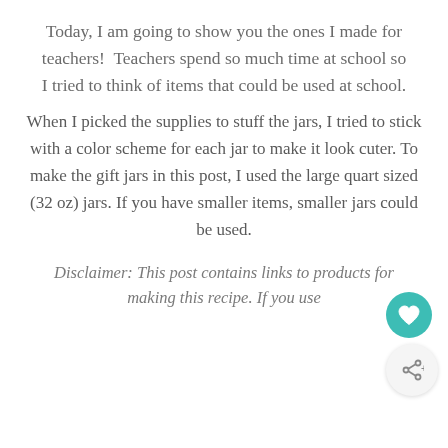Today, I am going to show you the ones I made for teachers!  Teachers spend so much time at school so I tried to think of items that could be used at school.
When I picked the supplies to stuff the jars, I tried to stick with a color scheme for each jar to make it look cuter. To make the gift jars in this post, I used the large quart sized (32 oz) jars. If you have smaller items, smaller jars could be used.
Disclaimer: This post contains links to products for making this recipe. If you use